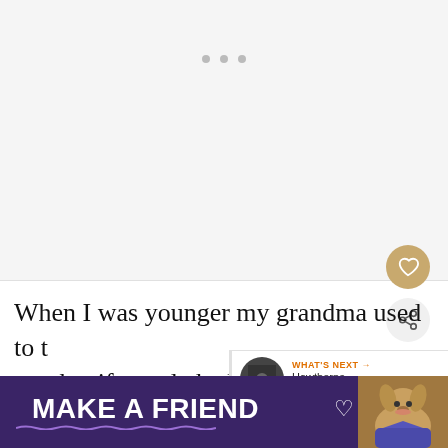[Figure (photo): Light gray placeholder image area with three gray dots (carousel indicator) near the top center, representing a loading or empty image slot.]
When I was younger my grandma used to tell me that if people had crow's feet around their eyes, it meant that they laughed a lot. But that's all well and good gran, I need that bird to...
[Figure (screenshot): A 'What's Next' overlay panel showing a circular thumbnail of a dark image and text 'WHAT'S NEXT → Hawthorne Review:...' in orange and black on white background.]
[Figure (infographic): Purple advertisement banner at the bottom reading 'MAKE A FRIEND' in large white bold text with a heart icon and a dog image on the right side. A close/X button appears on the banner.]